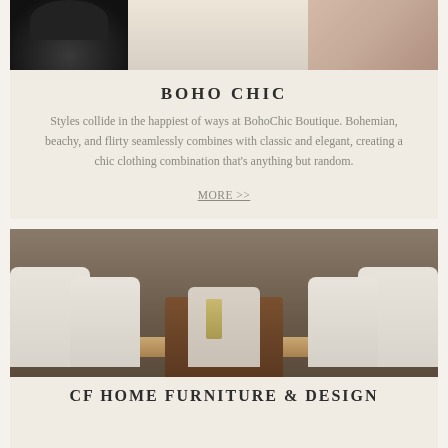[Figure (photo): Top strip of three fashion/lifestyle images: dark clothing on left, light center, pink outfit on right]
BOHO CHIC
Styles collide in the happiest of ways at BohoChic Boutique. Bohemian, beachy, and flirty seamlessly combines with classic and elegant, creating a chic clothing combination that's anything but random.
MORE >>
[Figure (photo): Interior photo of a dining room with a dark wood table with U-shaped base pedestal, white upholstered chairs, stone wall background, and floral centerpiece]
CF HOME FURNITURE & DESIGN